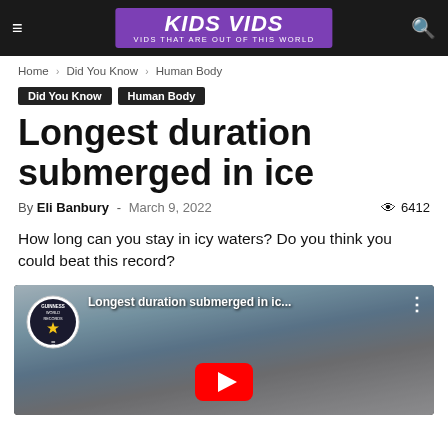KIDS VIDS — Vids That Are Out Of This World
Home › Did You Know › Human Body
Did You Know  Human Body
Longest duration submerged in ice
By Eli Banbury - March 9, 2022  👁 6412
How long can you stay in icy waters? Do you think you could beat this record?
[Figure (screenshot): YouTube video thumbnail showing a man submerged in ice with Guinness World Records badge and video title 'Longest duration submerged in ic...' with a red play button overlay.]